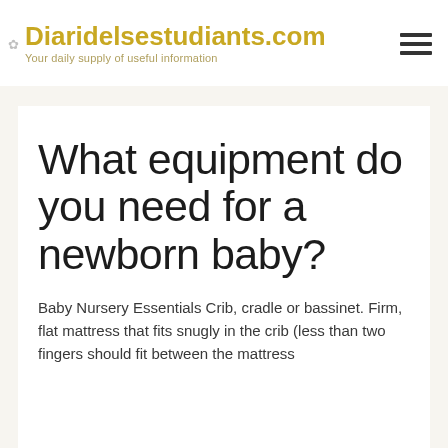Diaridelsestudiants.com — Your daily supply of useful information
What equipment do you need for a newborn baby?
Baby Nursery Essentials Crib, cradle or bassinet. Firm, flat mattress that fits snugly in the crib (less than two fingers should fit between the mattress